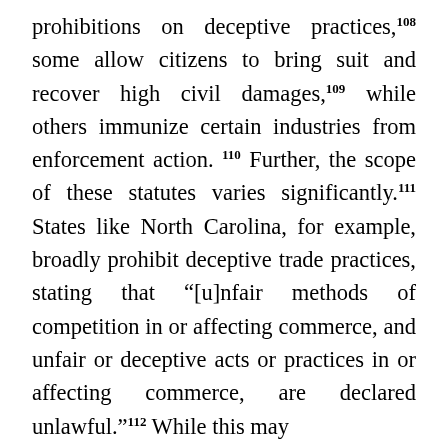prohibitions on deceptive practices,108 some allow citizens to bring suit and recover high civil damages,109 while others immunize certain industries from enforcement action. 110 Further, the scope of these statutes varies significantly.111 States like North Carolina, for example, broadly prohibit deceptive trade practices, stating that “[u]nfair methods of competition in or affecting commerce, and unfair or deceptive acts or practices in or affecting commerce, are declared unlawful.”112 While this may